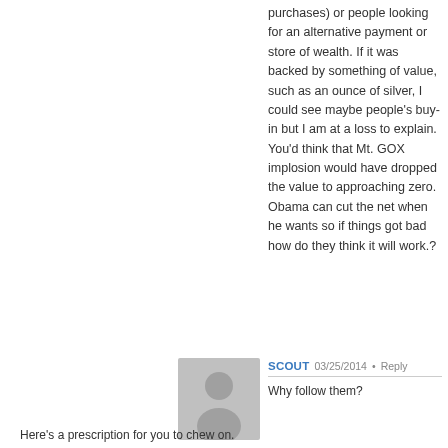purchases) or people looking for an alternative payment or store of wealth. If it was backed by something of value, such as an ounce of silver, I could see maybe people's buy-in but I am at a loss to explain. You'd think that Mt. GOX implosion would have dropped the value to approaching zero. Obama can cut the net when he wants so if things got bad how do they think it will work.?
[Figure (illustration): Generic user avatar silhouette on grey background]
SCOUT  03/25/2014  •  Reply
Why follow them?

Here's a prescription for you to chew on.